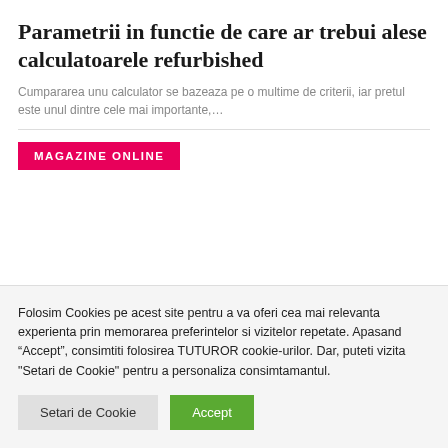Parametrii in functie de care ar trebui alese calculatoarele refurbished
Cumpararea unu calculator se bazeaza pe o multime de criterii, iar pretul este unul dintre cele mai importante,…
MAGAZINE ONLINE
Folosim Cookies pe acest site pentru a va oferi cea mai relevanta experienta prin memorarea preferintelor si vizitelor repetate. Apasand "Accept", consimtiti folosirea TUTUROR cookie-urilor. Dar, puteti vizita "Setari de Cookie" pentru a personaliza consimtamantul.